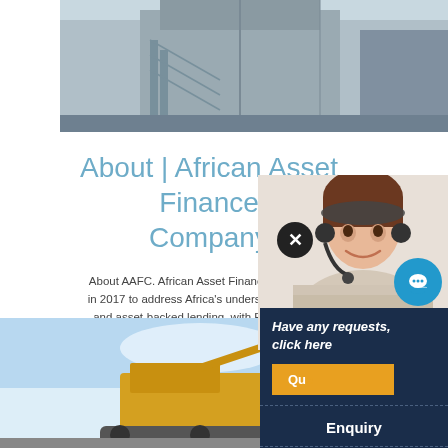[Figure (photo): Industrial/factory building exterior with steel structures and stairways, blue-gray tones]
About | African Asset Finance Company
About AAFC. African Asset Finance Company (AAFC) was established in 2017 to address Africa's underserved market for equipment and asset-backed lending, with Ethiopia as the firm's first entry into the market. In 2019, AAFC's subsidiary compa...
CHAT ONLINE
[Figure (photo): Customer service woman wearing headset, smiling]
Have any requests, click here
Que...
Enquiry
limingjlmofen@sina.com
[Figure (photo): Construction site with excavator/crane against blue sky]